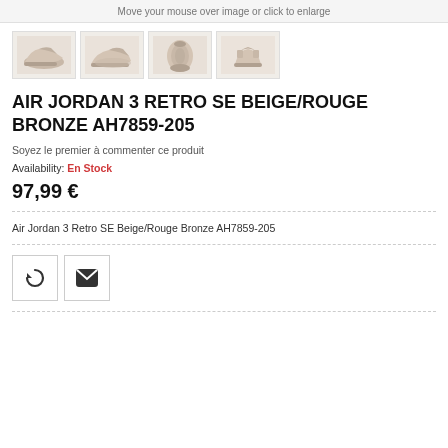Move your mouse over image or click to enlarge
[Figure (photo): Four thumbnail images of Air Jordan 3 Retro SE Beige/Rouge Bronze sneakers from different angles]
AIR JORDAN 3 RETRO SE BEIGE/ROUGE BRONZE AH7859-205
Soyez le premier à commenter ce produit
Availability: En Stock
97,99 €
Air Jordan 3 Retro SE Beige/Rouge Bronze AH7859-205
[Figure (illustration): Two icon buttons: a refresh/compare icon and an email/envelope icon]